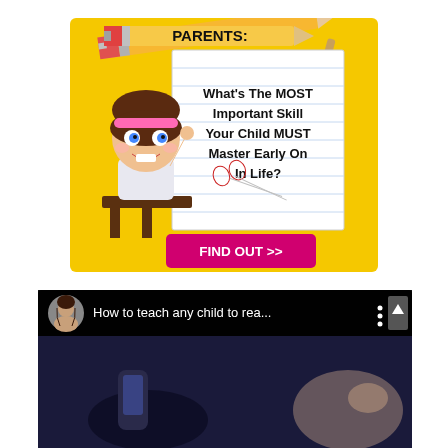[Figure (infographic): Educational advertisement banner with yellow background. Features a cartoon girl student at a desk, a pencil, a paint brush, scissors, and a notebook. Text reads 'PARENTS: What's The MOST Important Skill Your Child MUST Master Early On In Life?' with a pink 'FIND OUT >>' button.]
[Figure (screenshot): Video thumbnail with black bar at top showing a circular avatar of a woman, title 'How to teach any child to rea...', three-dot menu, and an up arrow button. Below shows a dark video still of a child's hands and a person's face.]